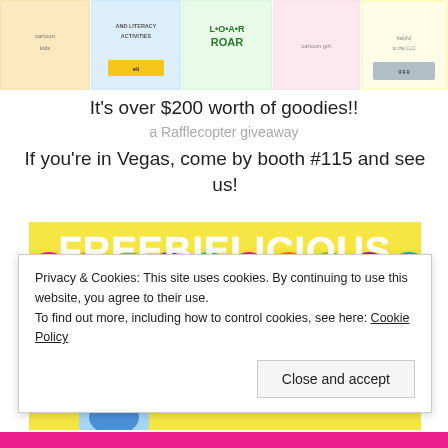[Figure (photo): Banner with colorful educational product covers/thumbnails showing cartoon children characters and text including 'AND LITERACY ACTIVITIES', 'ROAR']
It's over $200 worth of goodies!!
a Rafflecopter giveaway
If you're in Vegas, come by booth #115 and see us!
[Figure (illustration): Freebielicious banner: colorful scalloped header with 'FREEBIELICIOUS' in white block letters, yellow background, text 'Come find me in Vegas!' with 'Meet jennifer' and a photo of Jennifer]
Privacy & Cookies: This site uses cookies. By continuing to use this website, you agree to their use.
To find out more, including how to control cookies, see here: Cookie Policy
Close and accept